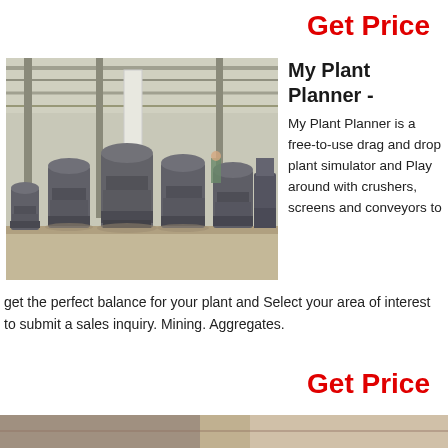Get Price
[Figure (photo): Industrial facility interior showing a row of large gray cylindrical grinding mill machines on metal bases, inside a steel-framed warehouse with high ceiling and natural lighting.]
My Plant Planner -
My Plant Planner is a free-to-use drag and drop plant simulator and Play around with crushers, screens and conveyors to get the perfect balance for your plant and Select your area of interest to submit a sales inquiry. Mining. Aggregates.
Get Price
[Figure (photo): Partial view of another industrial scene, bottom strip of image visible.]